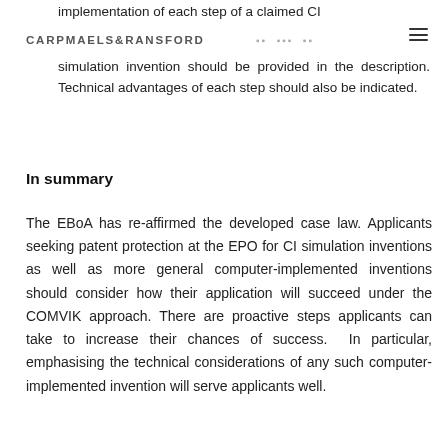CARPMAELS&RANSFORD
implementation of each step of a claimed CI simulation invention should be provided in the description. Technical advantages of each step should also be indicated.
In summary
The EBoA has re-affirmed the developed case law. Applicants seeking patent protection at the EPO for CI simulation inventions as well as more general computer-implemented inventions should consider how their application will succeed under the COMVIK approach. There are proactive steps applicants can take to increase their chances of success. In particular, emphasising the technical considerations of any such computer-implemented invention will serve applicants well.